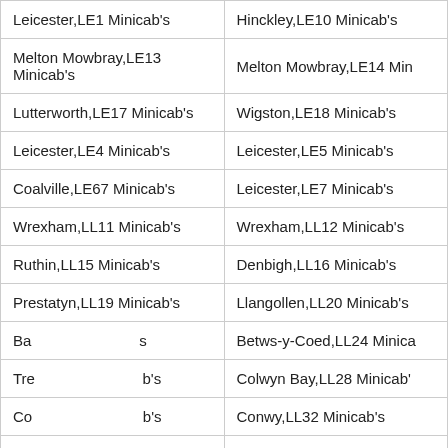| Leicester,LE1 Minicab's | Hinckley,LE10 Minicab's |
| Melton Mowbray,LE13 Minicab's | Melton Mowbray,LE14 Minicab's |
| Lutterworth,LE17 Minicab's | Wigston,LE18 Minicab's |
| Leicester,LE4 Minicab's | Leicester,LE5 Minicab's |
| Coalville,LE67 Minicab's | Leicester,LE7 Minicab's |
| Wrexham,LL11 Minicab's | Wrexham,LL12 Minicab's |
| Ruthin,LL15 Minicab's | Denbigh,LL16 Minicab's |
| Prestatyn,LL19 Minicab's | Llangollen,LL20 Minicab's |
| Bala,LL23 Minicab's | Betws-y-Coed,LL24 Minicab's |
| Trefriw,LL27 Minicab's | Colwyn Bay,LL28 Minicab's |
| Conwy,LL31 Minicab's | Conwy,LL32 Minicab's |
| Aberdyfi,LL35 Minicab's | Tywyn,LL36 Minicab's |
| Arthog,LL39 Minicab's | Dolgellau,LL40 Minicab's |